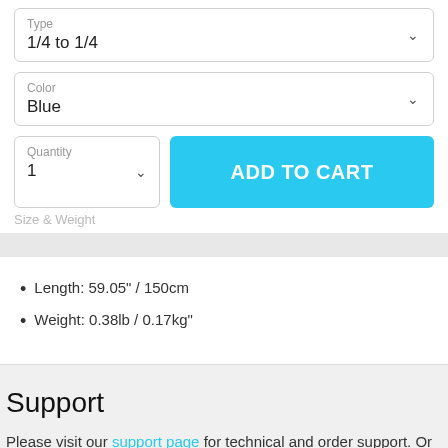Type
1/4 to 1/4
Color
Blue
Quantity
1
ADD TO CART
Size & Weight
Length: 59.05" / 150cm
Weight: 0.38lb / 0.17kg"
Support
Please visit our support page for technical and order support. Or